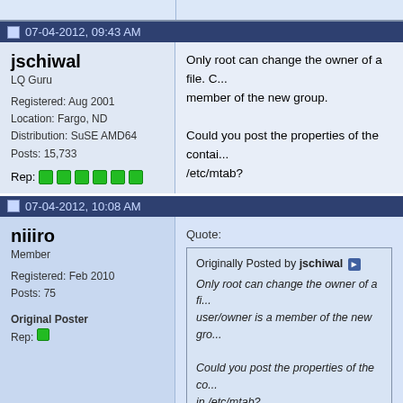07-04-2012, 09:43 AM
jschiwal
LQ Guru
Registered: Aug 2001
Location: Fargo, ND
Distribution: SuSE AMD64
Posts: 15,733
Rep:
Only root can change the owner of a file. C... member of the new group.

Could you post the properties of the contai... /etc/mtab?
07-04-2012, 10:08 AM
niiiro
Member
Registered: Feb 2010
Posts: 75
Original Poster
Rep:
Quote:
Originally Posted by jschiwal
Only root can change the owner of a fi... user/owner is a member of the new gro...

Could you post the properties of the co... in /etc/mtab?

Thanks for your reply jschiwal.

As I mentioned(and posted), even root can... 'MPH40100' is a member of the 'test' group...

/etc/mtab